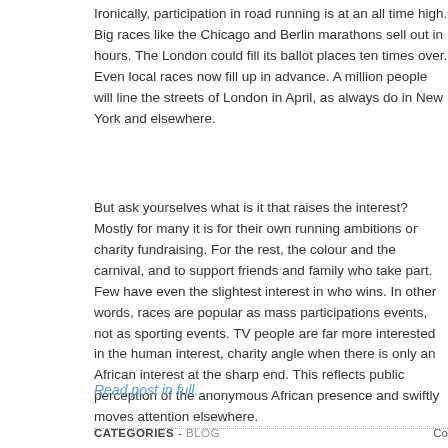Ironically, participation in road running is at an all time high.  Big races like the Chicago and Berlin marathons sell out in hours.  The London could fill its ballot places ten times over.  Even local races now fill up in advance.  A million people will line the streets of London in April, as always do in New York and elsewhere.
But ask yourselves what is it that raises the interest?  Mostly for many it is for their own running ambitions or charity fundraising.  For the rest, the colour and the carnival, and to support friends and family who take part.  Few have even the slightest interest in who wins.  In other words, races are popular as mass participations events, not as sporting events.  TV people are far more interested in the human interest, charity angle when there is only an African interest at the sharp end.  This reflects public perception of the anonymous African presence and swiftly moves attention elsewhere.
Read post in full...
CATEGORIES - BLOG